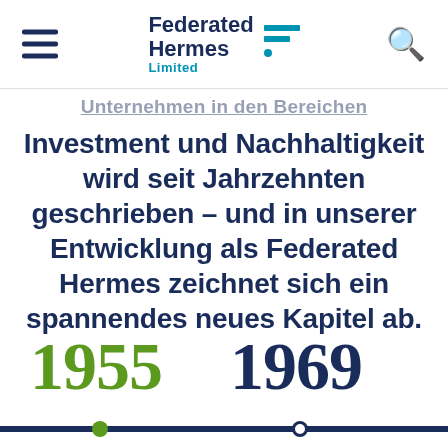Federated Hermes Limited — navigation header with hamburger menu and search icon
Unternehmen in den Bereichen
Investment und Nachhaltigkeit wird seit Jahrzehnten geschrieben – und in unserer Entwicklung als Federated Hermes zeichnet sich ein spannendes neues Kapitel ab.
1955
1969